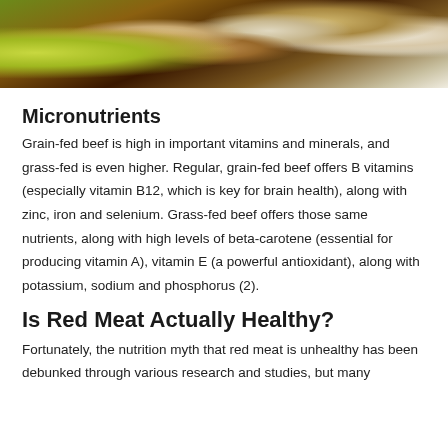[Figure (photo): Top portion of a photo showing food ingredients including a lime/lemon slice, garlic cloves, nuts, and other ingredients on a dark wooden surface]
Micronutrients
Grain-fed beef is high in important vitamins and minerals, and grass-fed is even higher. Regular, grain-fed beef offers B vitamins (especially vitamin B12, which is key for brain health), along with zinc, iron and selenium. Grass-fed beef offers those same nutrients, along with high levels of beta-carotene (essential for producing vitamin A), vitamin E (a powerful antioxidant), along with potassium, sodium and phosphorus (2).
Is Red Meat Actually Healthy?
Fortunately, the nutrition myth that red meat is unhealthy has been debunked through various research and studies, but many